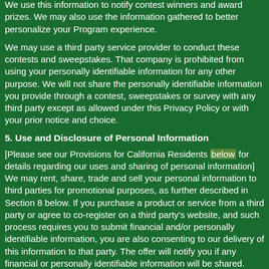We use this information to notify contest winners and award prizes. We may also use the information gathered to better personalize your Program experience.
We may use a third party service provider to conduct these contests and sweepstakes. That company is prohibited from using your personally identifiable information for any other purpose. We will not share the personally identifiable information you provide through a contest, sweepstakes or survey with any third party except as allowed under this Privacy Policy or with your prior notice and choice.
5. Use and Disclosure of Personal Information
[Please see our Provisions for California Residents below for details regarding our uses and sharing of personal information] We may rent, share, trade and sell your personal information to third parties for promotional purposes, as further described in Section 8 below. If you purchase a product or service from a third party or agree to co-register on a third party's website, and such process requires you to submit financial and/or personally identifiable information, you are also consenting to our delivery of this information to that party. The offer will notify you if any financial or personally identifiable information will be shared. Such third party will be authorized to use this information in